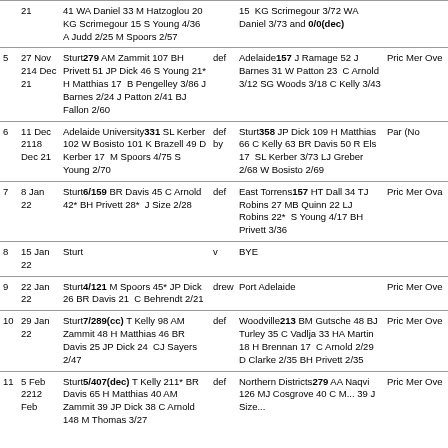| # | Date | Home | Result | Away | Extra |
| --- | --- | --- | --- | --- | --- |
|  | 21 | 41 WA Daniel 33 M Hatzoglou 20 KG Scrimegour 15 S Young 4/36 A Judd 2/25 M Spoors 2/57 |  | 15 KG Scrimegour 3/72 WA Daniel 3/73 and 0/0(dec) |  |
| 5 | 27 Nov 214 Dec 21 | Sturt279 AM Zammit 107 BH Privett 51 JP Dick 46 S Young 21* H Matthias 17 B Pengelley 3/86 J Barnes 2/24 J Patton 2/41 BJ Fallon 2/60 | def | Adelaide157 J Ramage 52 J Barnes 31 W Patton 23 C Arnold 3/12 SG Woods 3/18 C Kelly 3/43 | Pric Mer Ove |
| 6 | 11 Dec 2118 Dec 21 | Adelaide University331 SL Kerber 102 W Bosisto 101 K Brazell 49 D Kerber 17 M Spoors 4/75 S Young 2/70 | def by | Sturt358 JP Dick 109 H Matthias 66 C Kelly 63 BR Davis 50 R Els 17 SL Kerber 3/73 LJ Greber 2/68 W Bosisto 2/69 | Par (No |
| 7 | 8 Jan 22 | Sturt6/159 BR Davis 45 C Arnold 42* BH Privett 28* J Size 2/28 | def | East Torrens157 HT Dall 34 TJ Robins 27 MB Quinn 22 LJ Robins 22* S Young 4/17 BH Privett 3/36 | Pric Mer Ova |
| 8 | 15 Jan 22 | Sturt | v | BYE |  |
| 9 | 22 Jan 22 | Sturt4/121 M Spoors 45* JP Dick 26 BR Davis 21 C Behrendt 2/21 | drew | Port Adelaide | Pric Mer Ove |
| 10 | 29 Jan 22 | Sturt7/289(cc) T Kelly 98 AM Zammit 48 H Matthias 46 BR Davis 25 JP Dick 24 CJ Sayers 2/47 | def | Woodville213 BM Gutsche 48 BJ Turley 35 C Vadlja 33 HA Martin 18 H Brennan 17 C Arnold 2/29 D Clarke 2/35 BH Privett 2/35 | Pric Mer Ove |
| 11 | 5 Feb 2212 Feb | Sturt5/407(dec) T Kelly 211* BR Davis 65 H Matthias 40 AM Zammit 39 JP Dick 38 C Arnold 148 M Thomas 3/27 | def | Northern Districts279 AA Naqvi 126 MJ Cosgrove 40 C M... 39 J Size... | Pric Mer Ove |